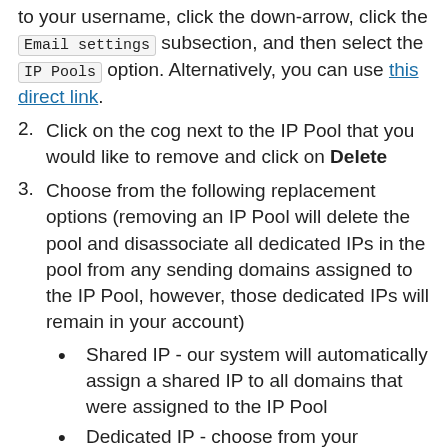to your username, click the down-arrow, click the Email settings subsection, and then select the IP Pools option. Alternatively, you can use this direct link.
2. Click on the cog next to the IP Pool that you would like to remove and click on Delete
3. Choose from the following replacement options (removing an IP Pool will delete the pool and disassociate all dedicated IPs in the pool from any sending domains assigned to the IP Pool, however, those dedicated IPs will remain in your account)
Shared IP - our system will automatically assign a shared IP to all domains that were assigned to the IP Pool
Dedicated IP - choose from your available